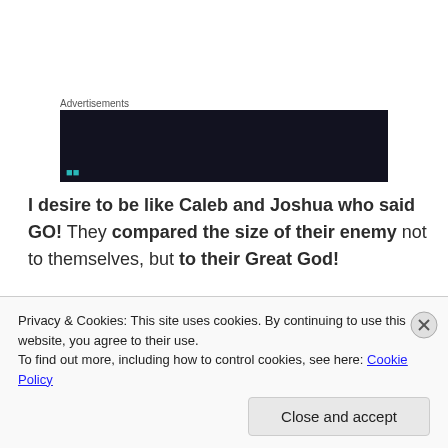Advertisements
[Figure (other): Dark advertisement banner with teal/cyan text partially visible]
I desire to be like Caleb and Joshua who said GO! They compared the size of their enemy not to themselves, but to their Great God!
Let me see Your promises to me for all the blessing they are! Let me see that the future You have planned for me is exceedingly good. Lead
Privacy & Cookies: This site uses cookies. By continuing to use this website, you agree to their use.
To find out more, including how to control cookies, see here: Cookie Policy
Close and accept